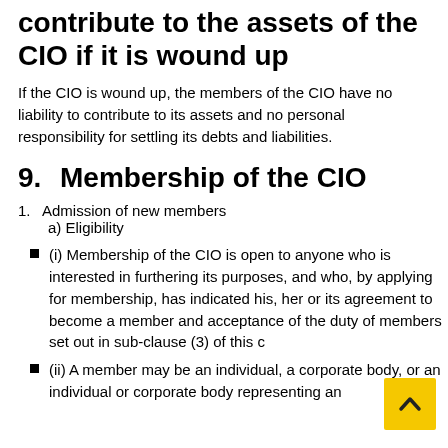8.   Liability of members to contribute to the assets of the CIO if it is wound up
If the CIO is wound up, the members of the CIO have no liability to contribute to its assets and no personal responsibility for settling its debts and liabilities.
9.   Membership of the CIO
1. Admission of new members
a) Eligibility
(i) Membership of the CIO is open to anyone who is interested in furthering its purposes, and who, by applying for membership, has indicated his, her or its agreement to become a member and acceptance of the duty of members set out in sub-clause (3) of this c
(ii) A member may be an individual, a corporate body, or an individual or corporate body representing an